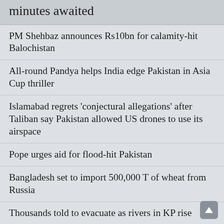minutes awaited
PM Shehbaz announces Rs10bn for calamity-hit Balochistan
All-round Pandya helps India edge Pakistan in Asia Cup thriller
Islamabad regrets 'conjectural allegations' after Taliban say Pakistan allowed US drones to use its airspace
Pope urges aid for flood-hit Pakistan
Bangladesh set to import 500,000 T of wheat from Russia
Thousands told to evacuate as rivers in KP rise
India demolishes illegal 100-metre ‘twin towers’ outside Delhi